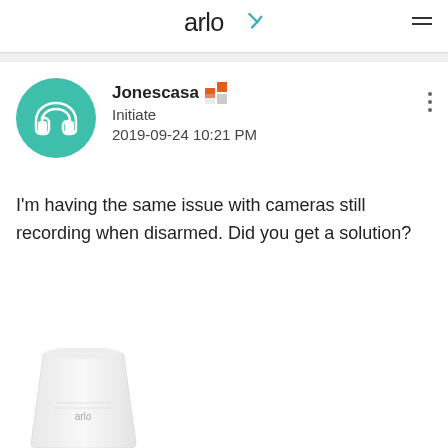arlo
Jonescasa Initiate 2019-09-24 10:21 PM
I'm having the same issue with cameras still recording when disarmed. Did you get a solution?
[Figure (photo): Arlo base station / hub device in white, partially visible at bottom of page]